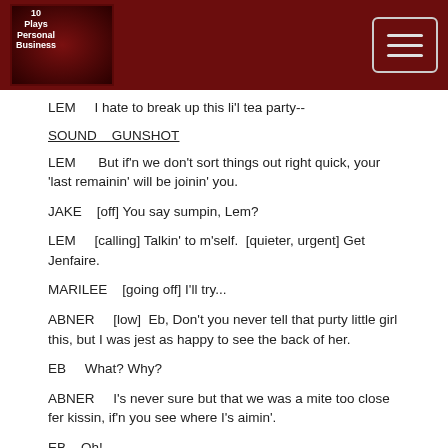10 Plays Personal Business logo and hamburger menu
LEM    I hate to break up this li'l tea party--
SOUND    GUNSHOT
LEM      But if'n we don't sort things out right quick, your 'last remainin' will be joinin' you.
JAKE    [off] You say sumpin, Lem?
LEM    [calling] Talkin' to m'self.  [quieter, urgent] Get Jenfaire.
MARILEE    [going off] I'll try...
ABNER    [low]  Eb, Don't you never tell that purty little girl this, but I was jest as happy to see the back of her.
EB    What? Why?
ABNER    I's never sure but that we was a mite too close fer kissin, if'n you see where I's aimin'.
EB    Oh!
LEM    Sounds t'me like, if the gold's found, this whole thing can be done with.